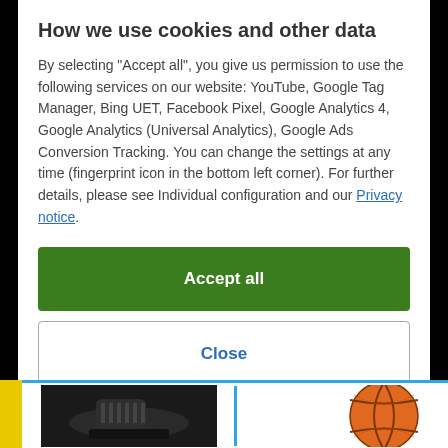How we use cookies and other data
By selecting "Accept all", you give us permission to use the following services on our website: YouTube, Google Tag Manager, Bing UET, Facebook Pixel, Google Analytics 4, Google Analytics (Universal Analytics), Google Ads Conversion Tracking. You can change the settings at any time (fingerprint icon in the bottom left corner). For further details, please see Individual configuration and our Privacy notice.
Accept all
Close
Configuration
[Figure (photo): Bottom strip showing two product images: a black shoe/cleat on the left and an orange basketball on the right, separated by a blue vertical line, with a yellow accent on the far left edge.]